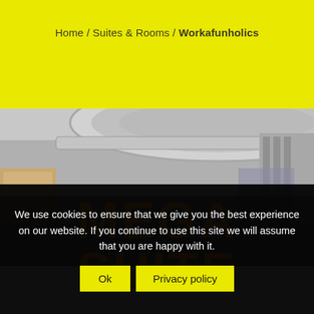Home / Suites & Rooms / Workafunholics
[Figure (photo): Interior photo of a modern hotel suite/room showing ceiling details with circular architectural elements and furniture in the background]
MEGA SUITE
We use cookies to ensure that we give you the best experience on our website. If you continue to use this site we will assume that you are happy with it.
Ok  Privacy policy